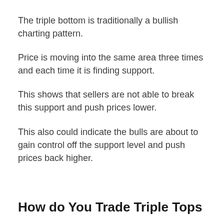The triple bottom is traditionally a bullish charting pattern.
Price is moving into the same area three times and each time it is finding support.
This shows that sellers are not able to break this support and push prices lower.
This also could indicate the bulls are about to gain control off the support level and push prices back higher.
How do You Trade Triple Tops